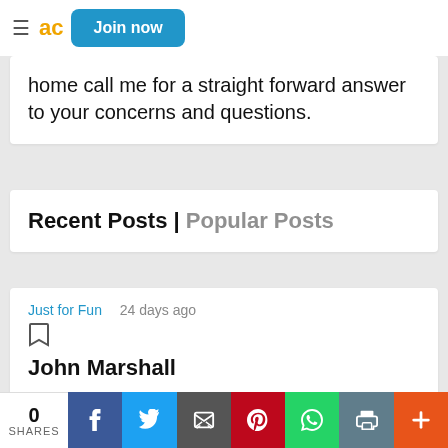≡ ac Join now
home call me for a straight forward answer to your concerns and questions.
Recent Posts | Popular Posts
Just for Fun   24 days ago
John Marshall
John Marshall (Royal Navy) was born in Ramsgate, Kent, Great Britain back in 1748.  When he was ten-years-old he became an apprentice sailor and spent his life ...
0 SHARES  [Facebook] [Twitter] [Email] [Pinterest] [WhatsApp] [Print] [+]